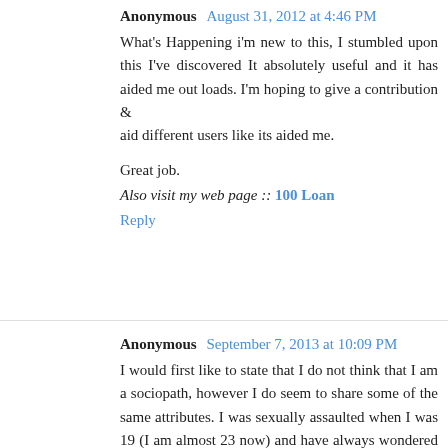Anonymous August 31, 2012 at 4:46 PM
What's Happening i'm new to this, I stumbled upon this I've discovered It absolutely useful and it has aided me out loads. I'm hoping to give a contribution & aid different users like its aided me.
Great job.
Also visit my web page :: 100 Loan
Reply
Anonymous September 7, 2013 at 10:09 PM
I would first like to state that I do not think that I am a sociopath, however I do seem to share some of the same attributes. I was sexually assaulted when I was 19 (I am almost 23 now) and have always wondered why it did not affect me the way it was supposed to. I had met a guy from my town online and agreed to meet him at his house. We were hanging out and he asked if I wanted something to drink. I said yes, because at 19 drinking was exciting I